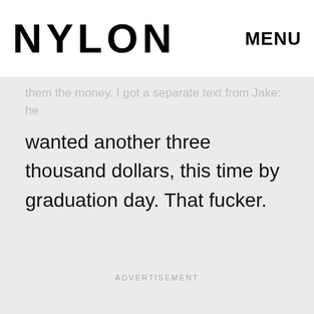NYLON  MENU
decided to give in to Ben and Jake's demands. But on Wikipedia and them the money. I got a separate text from Jake: he wanted another three thousand dollars, this time by graduation day. That fucker.
ADVERTISEMENT